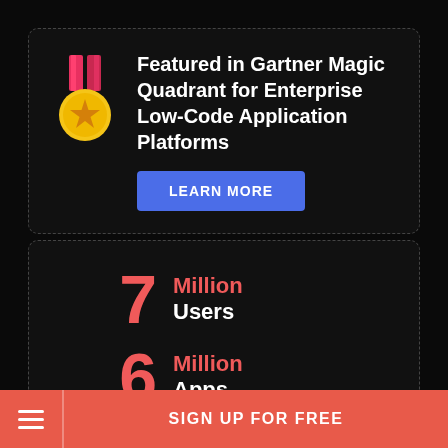[Figure (infographic): Medal icon with red/pink ribbon and gold circle with star]
Featured in Gartner Magic Quadrant for Enterprise Low-Code Application Platforms
LEARN MORE
7 Million Users
6 Million Apps
SIGN UP FOR FREE